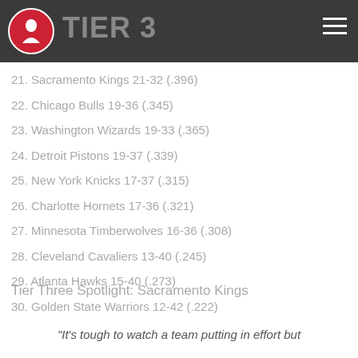TIER 3
21. Sacramento Kings 21-32 (.396)
22. Chicago Bulls 19-36 (.345)
23. Washington Wizards 19-33 (.365)
24. Detroit Pistons 19-37 (.339)
25. New York Knicks 17-37 (.315)
26. Charlotte Hornets 17-36 (.321)
27. Minnesota Timberwolves 16-36 (.308)
28. Cleveland Cavaliers 13-40 (.245)
29. Atlanta Hawks 15-40 (.273)
30. Golden State Warriors 12-42 (.222)
Tier Three Spotlight: Sacramento Kings
"It's tough to watch a team putting in effort but